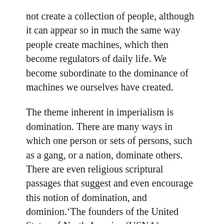not create a collection of people, although it can appear so in much the same way people create machines, which then become regulators of daily life. We become subordinate to the dominance of machines we ourselves have created.
The theme inherent in imperialism is domination. There are many ways in which one person or sets of persons, such as a gang, or a nation, dominate others. There are even religious scriptural passages that suggest and even encourage this notion of domination, and dominion.’The founders of the United States of North America (USNA) were astutely aware that every single citizen was potentially susceptible to strive towads domination and superiority. If domination is as old as recorded human history, it would be a rare person who is not influenced by the drive to be dominant, which requires the foil of a subordinate. The USNA Constitution is framed with words emphasizing the importance of limiting domination, within itself